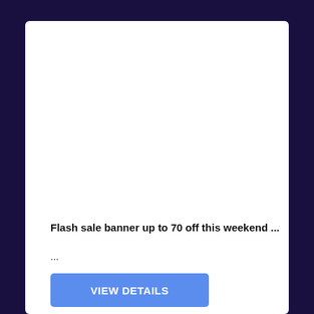Flash sale banner up to 70 off this weekend ...
...
VIEW DETAILS